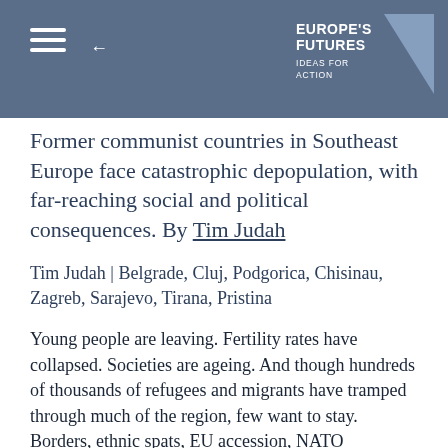EUROPE'S FUTURES IDEAS FOR ACTION
Former communist countries in Southeast Europe face catastrophic depopulation, with far-reaching social and political consequences. By Tim Judah
Tim Judah | Belgrade, Cluj, Podgorica, Chisinau, Zagreb, Sarajevo, Tirana, Pristina
Young people are leaving. Fertility rates have collapsed. Societies are ageing. And though hundreds of thousands of refugees and migrants have tramped through much of the region, few want to stay. Borders, ethnic spats, EU accession, NATO membership and unfinished business from the wars of the 1990s — these are the stories that fill the news from the Balkans. But serious analysis of the